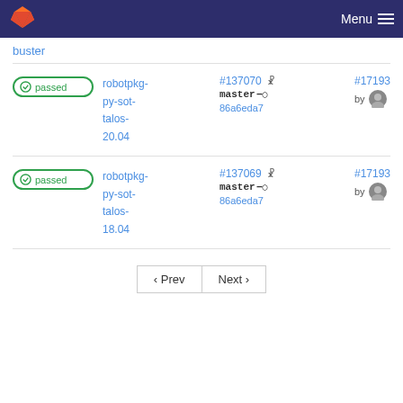Menu
buster
passed | robotpkg-py-sot-talos-20.04 | #137070 master 86a6eda7 | #17193 by
passed | robotpkg-py-sot-talos-18.04 | #137069 master 86a6eda7 | #17193 by
‹ Prev   Next ›